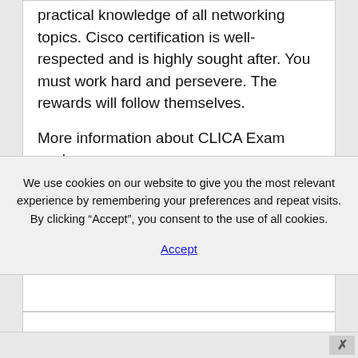practical knowledge of all networking topics. Cisco certification is well-respected and is highly sought after. You must work hard and persevere. The rewards will follow themselves.

More information about CLICA Exam explore
We use cookies on our website to give you the most relevant experience by remembering your preferences and repeat visits. By clicking “Accept”, you consent to the use of all cookies.
Accept